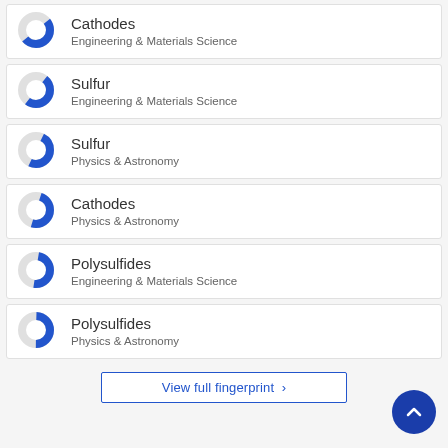Cathodes – Engineering & Materials Science
Sulfur – Engineering & Materials Science
Sulfur – Physics & Astronomy
Cathodes – Physics & Astronomy
Polysulfides – Engineering & Materials Science
Polysulfides – Physics & Astronomy
View full fingerprint >